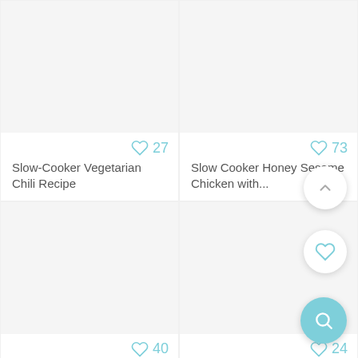Slow-Cooker Vegetarian Chili Recipe
27
Slow Cooker Honey Sesame Chicken with...
73
Veggie Packed White Bean Chicken Chili
40
Power Veggie Dinner Bow...
24